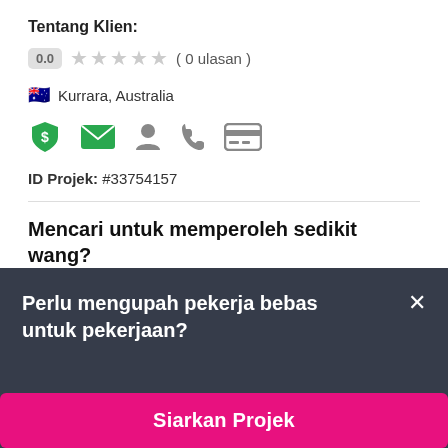Tentang Klien:
0.0  ★★★★★ ( 0 ulasan )
🇦🇺 Kurrara, Australia
[Figure (infographic): Row of verification icons: green shield with dollar sign, green envelope, gray person, gray phone, gray credit card]
ID Projek: #33754157
Mencari untuk memperoleh sedikit wang?
PROJEK DITUTUP
Perlu mengupah pekerja bebas untuk pekerjaan?
Siarkan Projek